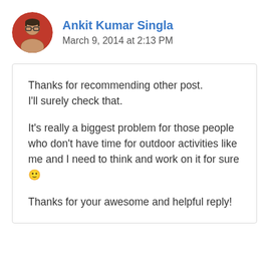[Figure (photo): Circular avatar photo of Ankit Kumar Singla, a man wearing glasses]
Ankit Kumar Singla
March 9, 2014 at 2:13 PM
Thanks for recommending other post. I'll surely check that.

It's really a biggest problem for those people who don't have time for outdoor activities like me and I need to think and work on it for sure 🙂

Thanks for your awesome and helpful reply!